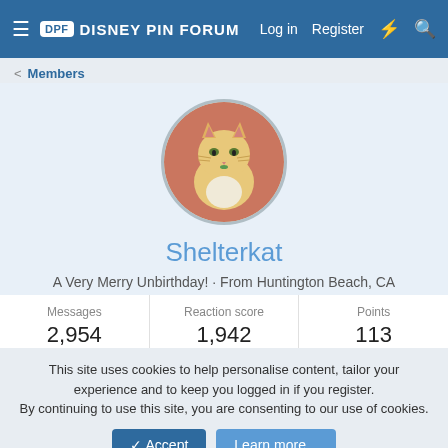DPF Disney Pin Forum  Log in  Register
Members
[Figure (photo): Circular avatar photo of an orange tabby cat with a red floral background]
Shelterkat
A Very Merry Unbirthday! · From Huntington Beach, CA
Joined: Aug 11, 2012
| Messages | Reaction score | Points |
| --- | --- | --- |
| 2,954 | 1,942 | 113 |
This site uses cookies to help personalise content, tailor your experience and to keep you logged in if you register. By continuing to use this site, you are consenting to our use of cookies.
✓ Accept   Learn more...